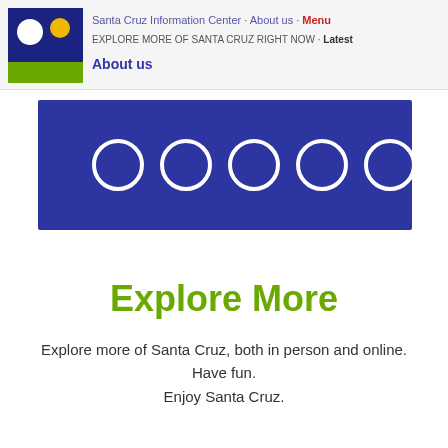Santa Cruz Information Center · About us · Menu
EXPLORE MORE OF SANTA CRUZ RIGHT NOW · Latest
About us
[Figure (illustration): Blue and green square logo with white circle and yellow/orange circle on dark blue background, green stripe at bottom]
[Figure (other): Dark blue banner with 5 white outline circles arranged in a horizontal row]
Explore More
Explore more of Santa Cruz, both in person and online. Have fun.
Enjoy Santa Cruz.